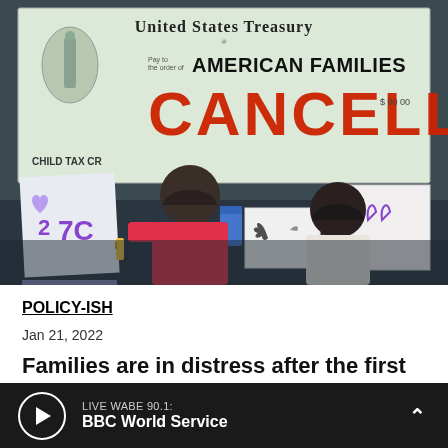[Figure (photo): Two children drawing/coloring in front of a large prop US Treasury check made out to 'AMERICAN FAMILIES' with 'CANCELLED' stamped across it in red letters, and 'CHILD TAX CR...' visible. Children hold markers and crayons with handmade signs around them.]
POLICY-ISH
Jan 21, 2022
Families are in distress after the first
[Figure (other): Audio player bar with play button circle, LIVE WABE 90.1: BBC World Service label, and chevron up arrow on dark background]